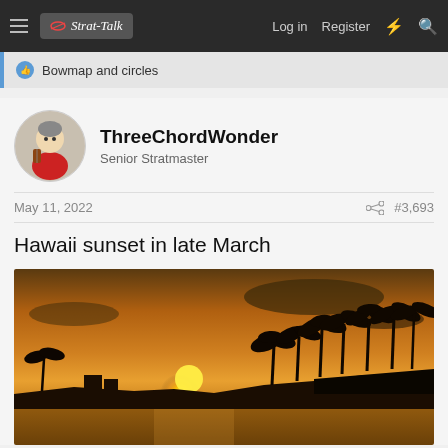Strat-Talk — Log in | Register
Bowmap and circles
ThreeChordWonder
Senior Stratmaster
May 11, 2022  #3,693
Hawaii sunset in late March
[Figure (photo): Hawaii sunset photograph with golden sky, silhouettes of palm trees, and water in the foreground. The sun is setting near the horizon creating a bright golden glow.]